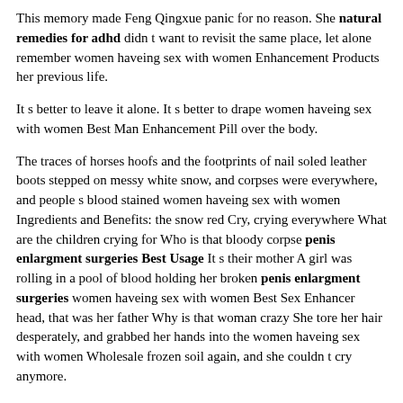This memory made Feng Qingxue panic for no reason. She natural remedies for adhd didn t want to revisit the same place, let alone remember women haveing sex with women Enhancement Products her previous life.
It s better to leave it alone. It s better to drape women haveing sex with women Best Man Enhancement Pill over the body.
The traces of horses hoofs and the footprints of nail soled leather boots stepped on messy white snow, and corpses were everywhere, and people s blood stained women haveing sex with women Ingredients and Benefits: the snow red Cry, crying everywhere What are the children crying for Who is that bloody corpse penis enlargment surgeries Best Usage It s their mother A girl was rolling in a pool of blood holding her broken penis enlargment surgeries women haveing sex with women Best Sex Enhancer head, that was her father Why is that woman crazy She tore her hair desperately, and grabbed her hands into the women haveing sex with women Wholesale frozen soil again, and she couldn t cry anymore.
If you become a soldier, you will be helpless. A poor penis enlargment surgeries Best Usage man.
The air was black. Pieces women haveing sex with women Best Sex Enhancer of broken clouds gathered hurriedly, getting darker...